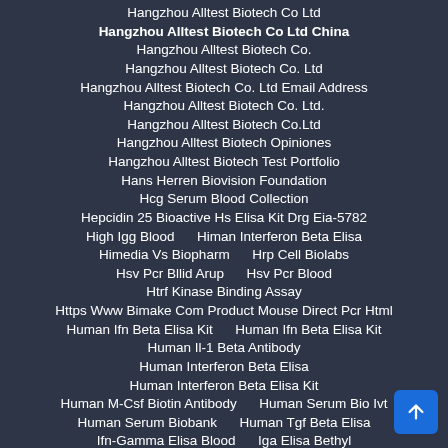Hangzhou Alltest Biotech Co Ltd
Hangzhou Alltest Biotech Co Ltd China
Hangzhou Alltest Biotech Co.
Hangzhou Alltest Biotech Co. Ltd
Hangzhou Alltest Biotech Co. Ltd Email Address
Hangzhou Alltest Biotech Co. Ltd.
Hangzhou Alltest Biotech Co.Ltd
Hangzhou Alltest Biotech Opiniones
Hangzhou Alltest Biotech Test Portfolio
Hans Herren Biovision Foundation
Hcg Serum Blood Collection
Hepcidin 25 Bioactive Hs Elisa Kit Drg Eia-5782
High Igg Blood    Himan Interferon Beta Elisa
Himedia Vs Biopharm    Hrp Cell Biolabs
Hsv Pcr Bllid Arup    Hsv Pcr Blood
Htrf Kinase Binding Assay
Https Www Bimake Com Product Mouse Direct Pcr Html
Human Ifn Beta Elisa Kit    Human Ifn Beta Elisa Kit
Human Il-1 Beta Antibody
Human Interferon Beta Elisa
Human Interferon Beta Elisa Kit
Human M-Csf Biotin Antibody    Human Serum Bio Ivt
Human Serum Biobank    Human Tgf Beta Elisa
Ifn-Gamma Elisa Blood    Iga Elisa Bethyl
Ige 2493 Blood    Ige Antibody Biologic    Ige In Blood